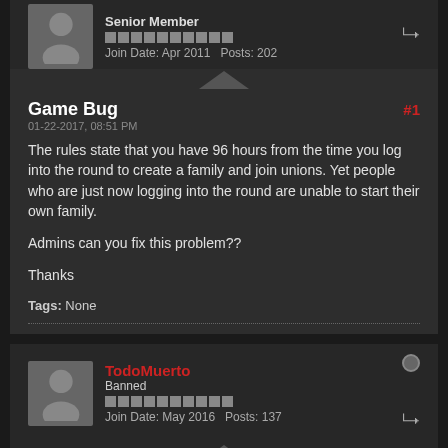Senior Member
Join Date: Apr 2011   Posts: 202
Game Bug
#1
01-22-2017, 08:51 PM
The rules state that you have 96 hours from the time you log into the round to create a family and join unions. Yet people who are just now logging into the round are unable to start their own family.
Admins can you fix this problem??
Thanks
Tags: None
TodoMuerto
Banned
Join Date: May 2016   Posts: 137
01-22-2017, 09:46 PM
#2